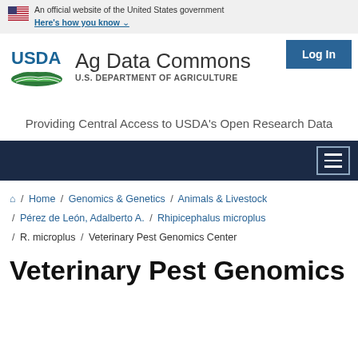An official website of the United States government Here's how you know
[Figure (logo): Log In button in blue]
[Figure (logo): USDA Ag Data Commons logo with U.S. Department of Agriculture text]
Providing Central Access to USDA's Open Research Data
[Figure (other): Dark navy navigation bar with hamburger menu icon]
Home / Genomics & Genetics / Animals & Livestock / Pérez de León, Adalberto A. / Rhipicephalus microplus / R. microplus / Veterinary Pest Genomics Center
Veterinary Pest Genomic...